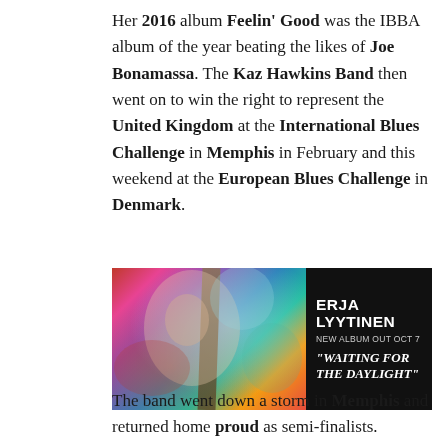Her 2016 album Feelin' Good was the IBBA album of the year beating the likes of Joe Bonamassa. The Kaz Hawkins Band then went on to win the right to represent the United Kingdom at the International Blues Challenge in Memphis in February and this weekend at the European Blues Challenge in Denmark.
[Figure (illustration): Advertisement banner for Erja Lyytinen's new album 'Waiting for the Daylight'. Left side shows a colorful artistic image of a woman holding a guitar neck with psychedelic background. Right side has black background with white text: ERJA LYYTINEN, NEW ALBUM OUT OCT 7, 'WAITING FOR THE DAYLIGHT']
The band went down a storm in Memphis and returned home proud as semi-finalists.